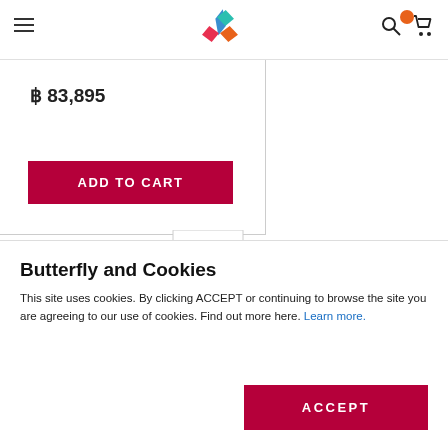[Figure (logo): Butterfly-shaped colorful logo made of four diamond shapes in blue, teal, orange, and red]
≡
[Figure (illustration): Search icon (magnifying glass) and shopping cart icon with orange notification dot]
฿ 83,895
ADD TO CART
[Figure (illustration): Chevron down arrow in a rounded tab]
[Figure (illustration): Product card with X close button and red product image placeholder]
[Figure (illustration): Empty product card with dashed border]
[Figure (illustration): Partial product card with dashed border]
Butterfly and Cookies
This site uses cookies. By clicking ACCEPT or continuing to browse the site you are agreeing to our use of cookies. Find out more here. Learn more.
ACCEPT